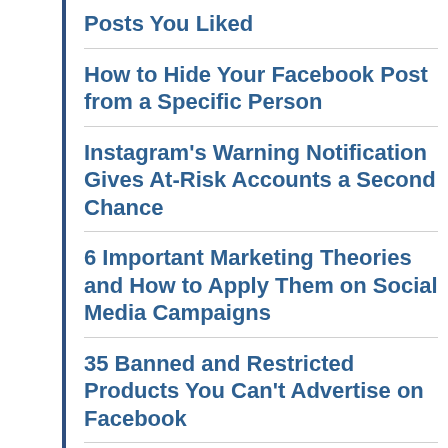Posts You Liked
How to Hide Your Facebook Post from a Specific Person
Instagram's Warning Notification Gives At-Risk Accounts a Second Chance
6 Important Marketing Theories and How to Apply Them on Social Media Campaigns
35 Banned and Restricted Products You Can't Advertise on Facebook
The Best Time to Post on TikTok, According to Data